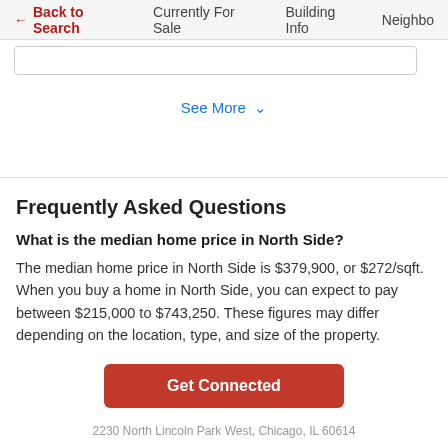← Back to Search   Currently For Sale   Building Info   Neighbo
See More ∨
Frequently Asked Questions
What is the median home price in North Side?
The median home price in North Side is $379,900, or $272/sqft. When you buy a home in North Side, you can expect to pay between $215,000 to $743,250. These figures may differ depending on the location, type, and size of the property.
Get Connected
2230 North Lincoln Park West, Chicago, IL 60614